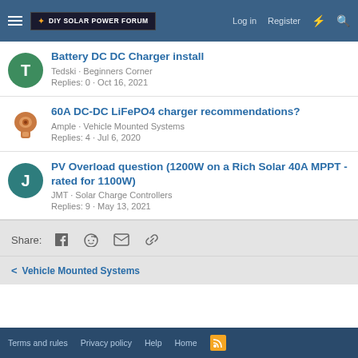DIY Solar Power Forum — Log in · Register
Battery DC DC Charger install
Tedski · Beginners Corner
Replies: 0 · Oct 16, 2021
60A DC-DC LiFePO4 charger recommendations?
Ample · Vehicle Mounted Systems
Replies: 4 · Jul 6, 2020
PV Overload question (1200W on a Rich Solar 40A MPPT - rated for 1100W)
JMT · Solar Charge Controllers
Replies: 9 · May 13, 2021
Share:
< Vehicle Mounted Systems
Terms and rules · Privacy policy · Help · Home